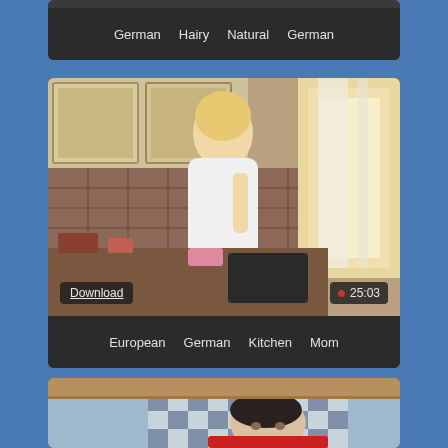[Figure (screenshot): Partial video thumbnail strip at top]
German  Hairy  Natural  German
[Figure (screenshot): Video thumbnail showing woman in kitchen in white dress near window with Download button and 25:03 duration]
European  German  Kitchen  Mom
[Figure (screenshot): Video thumbnail showing person lying in bed with checkered pillow]